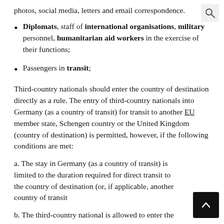photos, social media, letters and email correspondence.
Diplomats, staff of international organisations, military personnel, humanitarian aid workers in the exercise of their functions;
Passengers in transit;
Third-country nationals should enter the country of destination directly as a rule. The entry of third-country nationals into Germany (as a country of transit) for transit to another EU member state, Schengen country or the United Kingdom (country of destination) is permitted, however, if the following conditions are met:
a. The stay in Germany (as a country of transit) is limited to the duration required for direct transit to the country of destination (or, if applicable, another country of trans…
b. The third-country national is allowed to enter the country…